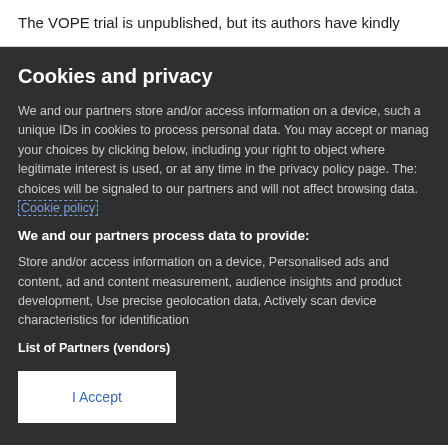The VOPE trial is unpublished, but its authors have kindly
Cookies and privacy
We and our partners store and/or access information on a device, such a unique IDs in cookies to process personal data. You may accept or manage your choices by clicking below, including your right to object where legitimate interest is used, or at any time in the privacy policy page. These choices will be signaled to our partners and will not affect browsing data. Cookie policy
We and our partners process data to provide:
Store and/or access information on a device, Personalised ads and content, ad and content measurement, audience insights and product development, Use precise geolocation data, Actively scan device characteristics for identification
List of Partners (vendors)
I Accept